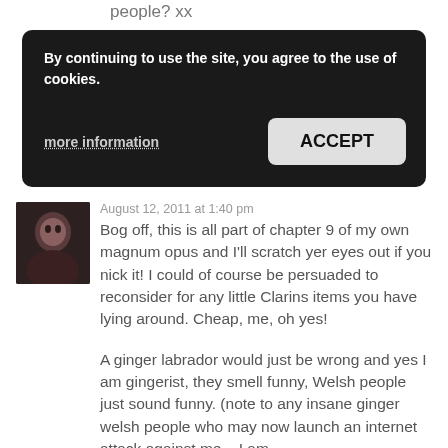people? xx
By continuing to use the site, you agree to the use of cookies.
more information
ACCEPT
[Figure (photo): Avatar photo of a woman]
August 12, 2011 at 1:40 pm
Bog off, this is all part of chapter 9 of my own magnum opus and I'll scratch yer eyes out if you nick it! I could of course be persuaded to reconsider for any little Clarins items you have lying around. Cheap, me, oh yes!
A ginger labrador would just be wrong and yes I am gingerist, they smell funny, Welsh people just sound funny. (note to any insane ginger welsh people who may now launch an internet attack against me – I am